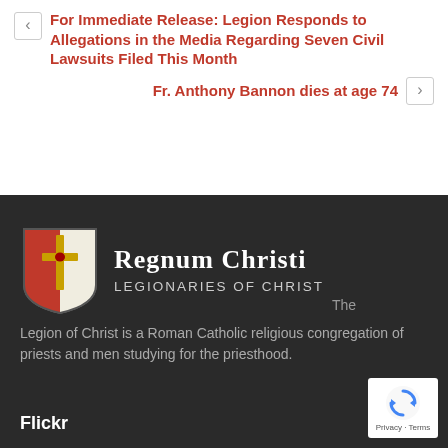< For Immediate Release: Legion Responds to Allegations in the Media Regarding Seven Civil Lawsuits Filed This Month
Fr. Anthony Bannon dies at age 74 >
[Figure (logo): Regnum Christi Legionaries of Christ shield logo with red and white sections and gold cross, alongside the text 'Regnum Christi' and 'Legionaries of Christ']
The Legion of Christ is a Roman Catholic religious congregation of priests and men studying for the priesthood.
Flickr
[Figure (logo): Google reCAPTCHA badge with blue recycle-arrow icon and 'Privacy - Terms' text]